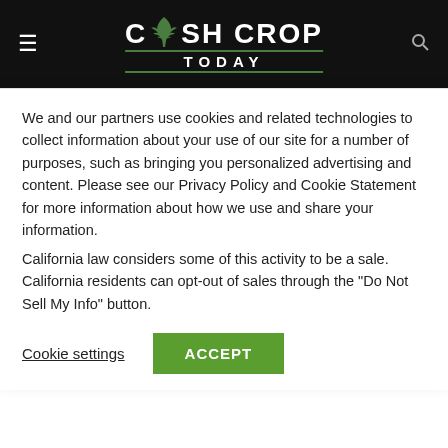CASH CROP TODAY
[Figure (logo): Partially visible circular mountain/peaks logo icon in black and white]
We and our partners use cookies and related technologies to collect information about your use of our site for a number of purposes, such as bringing you personalized advertising and content. Please see our Privacy Policy and Cookie Statement for more information about how we use and share your information.
California law considers some of this activity to be a sale. California residents can opt-out of sales through the “Do Not Sell My Info” button.
Cookie settings  ACCEPT